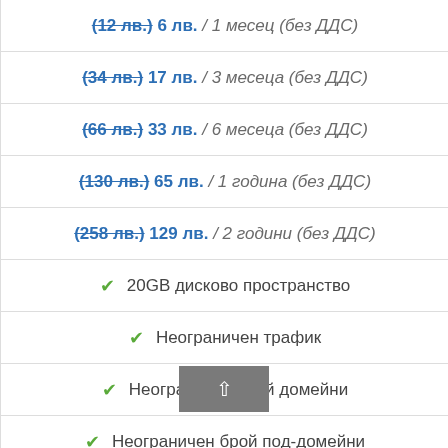(12 лв.) 6 лв. / 1 месец (без ДДС)
(34 лв.) 17 лв. / 3 месеца (без ДДС)
(66 лв.) 33 лв. / 6 месеца (без ДДС)
(130 лв.) 65 лв. / 1 година (без ДДС)
(258 лв.) 129 лв. / 2 години (без ДДС)
✓ 20GB дисково пространство
✓ Неограничен трафик
✓ Неограничен брой домейни
✓ Неограничен брой под-домейни